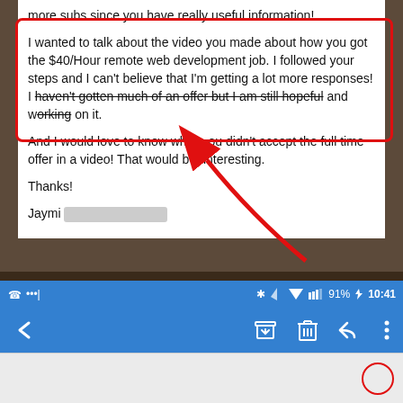more subs since you have really useful information!
I wanted to talk about the video you made about how you got the $40/Hour remote web development job. I followed your steps and I can't believe that I'm getting a lot more responses! I haven't gotten much of an offer but I am still hopeful and working on it.
And I would love to know why you didn't accept the full time offer in a video! That would be interesting.
Thanks!
Jaymi [redacted]
[Figure (screenshot): Screenshot of an Android phone showing an email message with a red rectangle highlighting the sentence about $40/Hour remote web development job, and a red arrow pointing to crossed-out text. Below is the Android status bar showing 91% battery, 10:41 time, and Bluetooth/signal icons, plus navigation bar with back, archive, delete, reply, and more options icons.]